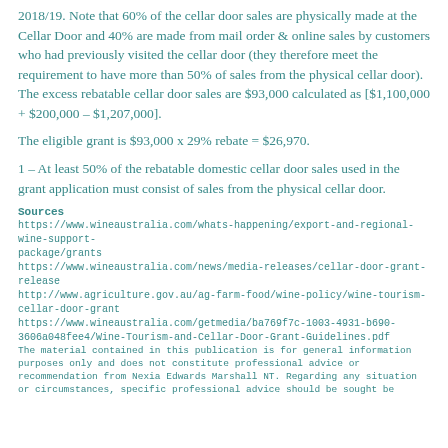2018/19. Note that 60% of the cellar door sales are physically made at the Cellar Door and 40% are made from mail order & online sales by customers who had previously visited the cellar door (they therefore meet the requirement to have more than 50% of sales from the physical cellar door). The excess rebatable cellar door sales are $93,000 calculated as [$1,100,000 + $200,000 – $1,207,000].
The eligible grant is $93,000 x 29% rebate = $26,970.
1 – At least 50% of the rebatable domestic cellar door sales used in the grant application must consist of sales from the physical cellar door.
Sources
https://www.wineaustralia.com/whats-happening/export-and-regional-wine-support-package/grants
https://www.wineaustralia.com/news/media-releases/cellar-door-grant-release
http://www.agriculture.gov.au/ag-farm-food/wine-policy/wine-tourism-cellar-door-grant
https://www.wineaustralia.com/getmedia/ba769f7c-1003-4931-b690-3606a048fee4/Wine-Tourism-and-Cellar-Door-Grant-Guidelines.pdf
The material contained in this publication is for general information purposes only and does not constitute professional advice or recommendation from Nexia Edwards Marshall NT. Regarding any situation or circumstances, specific professional advice should be sought be...